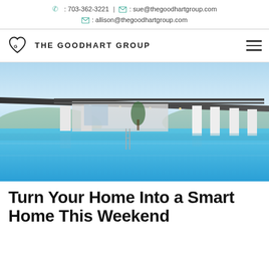703-362-3221 | sue@thegoodhartgroup.com | allison@thegoodhartgroup.com
[Figure (logo): The Goodhart Group logo with heart icon and navigation hamburger menu]
[Figure (photo): Modern luxury home with infinity pool and covered outdoor area at dusk, blue sky]
Turn Your Home Into a Smart Home This Weekend